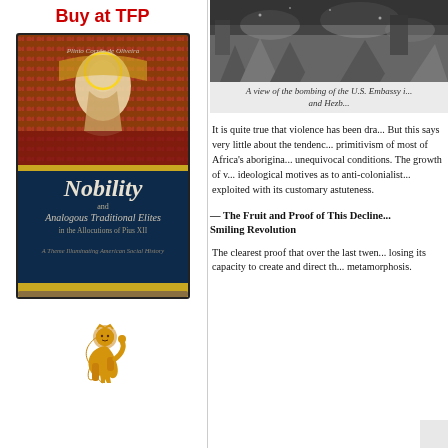Buy at TFP
[Figure (photo): Book cover: Nobility and Analogous Traditional Elites in the Allocutions of Pius XII by Plinio Corrêa de Oliveira, A Theme Illuminating American Social History]
[Figure (illustration): Golden heraldic lion illustration]
[Figure (photo): A view of the bombing of the U.S. Embassy, with rubble and debris visible]
A view of the bombing of the U.S. Embassy i... and Hezb...
It is quite true that violence has been dra... But this says very little about the tendenc... primitivism of most of Africa's aborigina... unequivocal conditions. The growth of v... ideological motives as to anti-colonialist... exploited with its customary astuteness.
— The Fruit and Proof of This Decline... Smiling Revolution
The clearest proof that over the last twen... losing its capacity to create and direct th... metamorphosis.